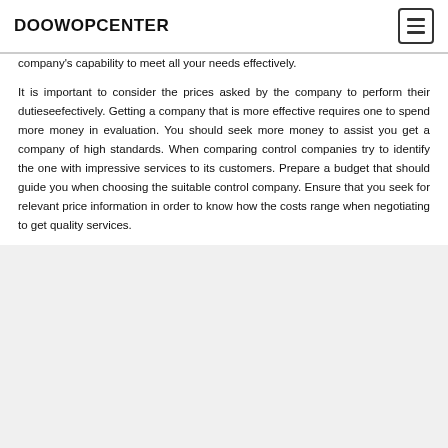DOOWOPCENTER
company's capability to meet all your needs effectively.
It is important to consider the prices asked by the company to perform their dutieseefectively. Getting a company that is more effective requires one to spend more money in evaluation. You should seek more money to assist you get a company of high standards. When comparing control companies try to identify the one with impressive services to its customers. Prepare a budget that should guide you when choosing the suitable control company. Ensure that you seek for relevant price information in order to know how the costs range when negotiating to get quality services.